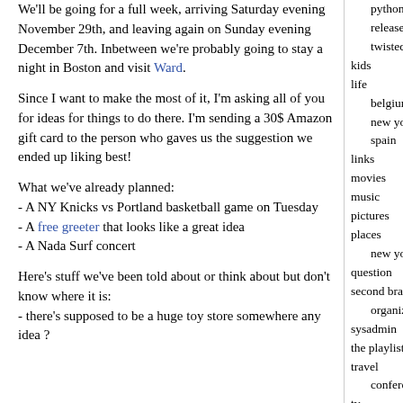We'll be going for a full week, arriving Saturday evening November 29th, and leaving again on Sunday evening December 7th. Inbetween we're probably going to stay a night in Boston and visit Ward.
Since I want to make the most of it, I'm asking all of you for ideas for things to do there. I'm sending a 30$ Amazon gift card to the person who gaves us the suggestion we ended up liking best!
What we've already planned:
- A NY Knicks vs Portland basketball game on Tuesday
- A free greeter that looks like a great idea
- A Nada Surf concert
Here's stuff we've been told about or think about but don't know where it is:
- there's supposed to be a huge toy store somewhere any idea ?
python
releases
twisted
kids
life
belgium
new york city
spain
links
movies
music
pictures
places
new york
question
second brain
organize
sysadmin
the playlist
travel
conference
tv
work
search:
archives:
april 2022
march 2022
february 2022